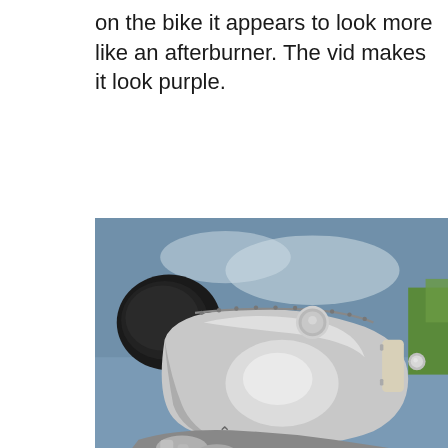on the bike it appears to look more like an afterburner. The vid makes it look purple.
[Figure (photo): Close-up photograph of a polished aluminum/stainless steel motorcycle fuel tank with chrome engine components visible below, a black leather seat in the background, and green grass/foliage in the upper right. The tank has a brushed metallic finish with riveted edges and a round filler cap.]